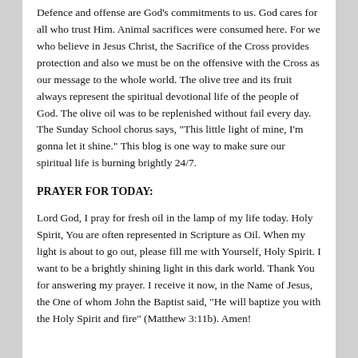Defence and offense are God’s commitments to us. God cares for all who trust Him. Animal sacrifices were consumed here. For we who believe in Jesus Christ, the Sacrifice of the Cross provides protection and also we must be on the offensive with the Cross as our message to the whole world. The olive tree and its fruit always represent the spiritual devotional life of the people of God. The olive oil was to be replenished without fail every day. The Sunday School chorus says, “This little light of mine, I’m gonna let it shine.” This blog is one way to make sure our spiritual life is burning brightly 24/7.
PRAYER FOR TODAY:
Lord God, I pray for fresh oil in the lamp of my life today. Holy Spirit, You are often represented in Scripture as Oil. When my light is about to go out, please fill me with Yourself, Holy Spirit. I want to be a brightly shining light in this dark world. Thank You for answering my prayer. I receive it now, in the Name of Jesus, the One of whom John the Baptist said, “He will baptize you with the Holy Spirit and fire” (Matthew 3:11b). Amen!